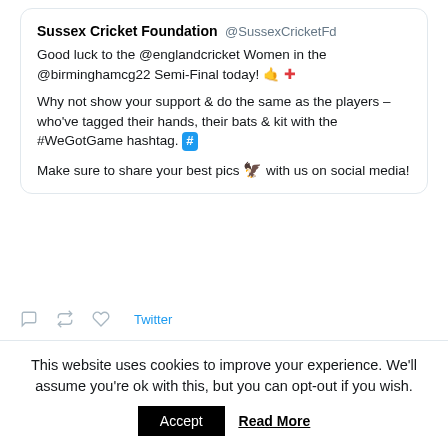Sussex Cricket Foundation @SussexCricketFd
Good luck to the @englandcricket Women in the @birminghamcg22 Semi-Final today! 🤙➕

Why not show your support & do the same as the players – who've tagged their hands, their bats & kit with the #WeGotGame hashtag. #

Make sure to share your best pics 🦅 with us on social media!
Twitter
Title Media @titlemediauk · 5 Aug
Brighton Pride is BACK baby!! How is your Pride...
This website uses cookies to improve your experience. We'll assume you're ok with this, but you can opt-out if you wish.
Accept  Read More